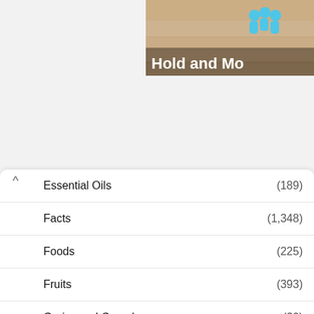[Figure (screenshot): Partial banner image in upper right with text 'Hold and Mo' and blue figures icon on a beige/peach background]
Essential Oils (189)
Facts (1,348)
Foods (225)
Fruits (393)
Grains and Cereals (30)
Health & Beauty (430)
Herbs and Spices (977)
Medicines (8)
Nutritional value (26)
Nuts and seeds (54)